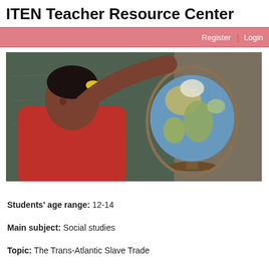ITEN Teacher Resource Center
Register | Login
[Figure (photo): A young girl in a red shirt pointing at a globe in a classroom setting]
Students' age range: 12-14
Main subject: Social studies
Topic: The Trans-Atlantic Slave Trade
Description: Procedures
Engage